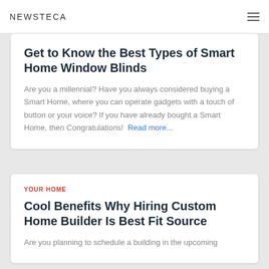NEWSTECA
Get to Know the Best Types of Smart Home Window Blinds
Are you a millennial? Have you always considered buying a Smart Home, where you can operate gadgets with a touch of button or your voice? If you have already bought a Smart Home, then Congratulations!  Read more...
YOUR HOME
Cool Benefits Why Hiring Custom Home Builder Is Best Fit Source
Are you planning to schedule a building in the upcoming